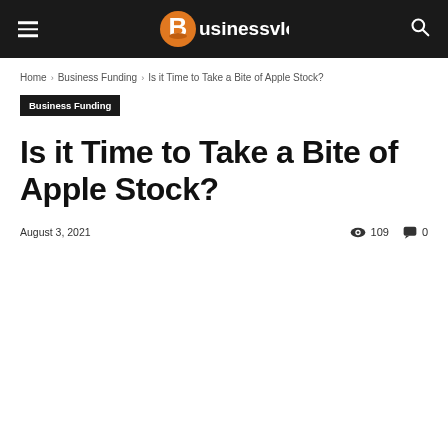businessvlogg
Home › Business Funding › Is it Time to Take a Bite of Apple Stock?
Business Funding
Is it Time to Take a Bite of Apple Stock?
August 3, 2021  109  0